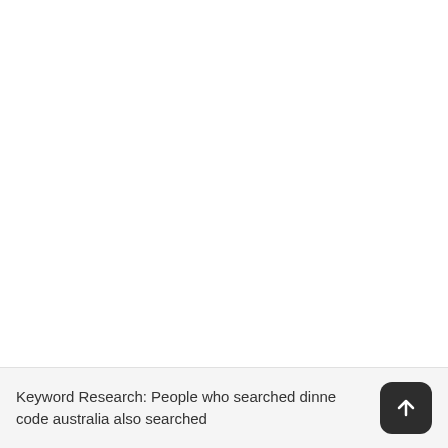Keyword Research: People who searched dinner code australia also searched